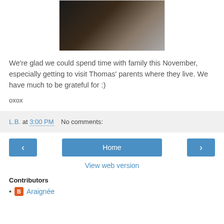[Figure (photo): Two people arm wrestling at a table, viewed from above, one wearing a black shirt and one wearing a gray/khaki shirt]
We're glad we could spend time with family this November, especially getting to visit Thomas' parents where they live. We have much to be grateful for :)
oxox
L.B. at 3:00 PM   No comments:
Home
View web version
Contributors
Araignée